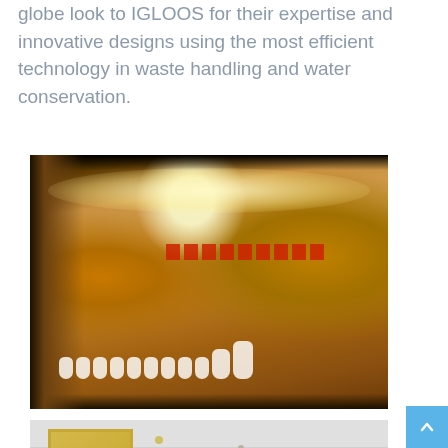globe look to IGLOOS for their expertise and innovative designs using the most efficient technology in waste handling and water conservation.
[Figure (photo): Interior of a modern public restroom with curved wall lined with white urinals, warm yellow-orange walls and floor, overhead spotlights, and red decorative strip along the top of the urinal wall.]
[Figure (photo): Interior of a public restroom showing sinks with gold-framed mirrors, overhead lighting, and light-colored walls and countertop.]